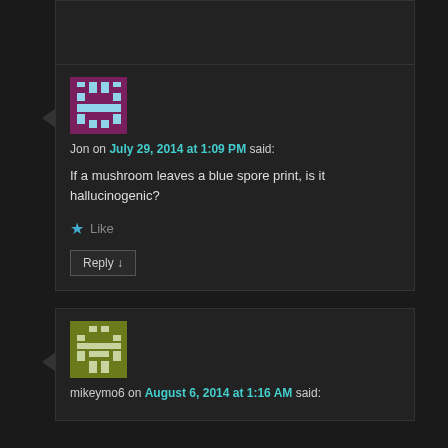[Figure (illustration): Pixel-art avatar for user Jon — magenta/purple background with light blue pixel character design]
Jon on July 29, 2014 at 1:09 PM said:
If a mushroom leaves a blue spore print, is it hallucinogenic?
Like
Reply ↓
[Figure (illustration): Pixel-art avatar for user mikeymo6 — olive/dark yellow background with pixel character design]
mikeymo6 on August 6, 2014 at 1:16 AM said: